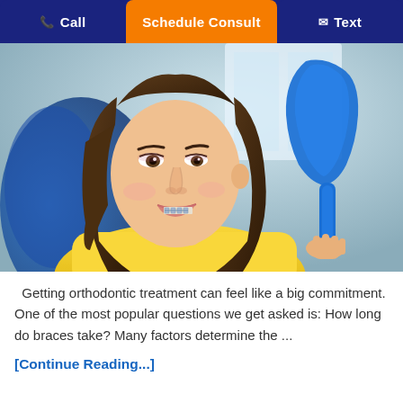Call  Schedule Consult  Text
[Figure (photo): Young woman with braces sitting in a dental chair, wearing a yellow shirt, holding a blue tooth-shaped mirror, looking at her teeth. Dental office background.]
Getting orthodontic treatment can feel like a big commitment. One of the most popular questions we get asked is: How long do braces take? Many factors determine the ...
[Continue Reading...]